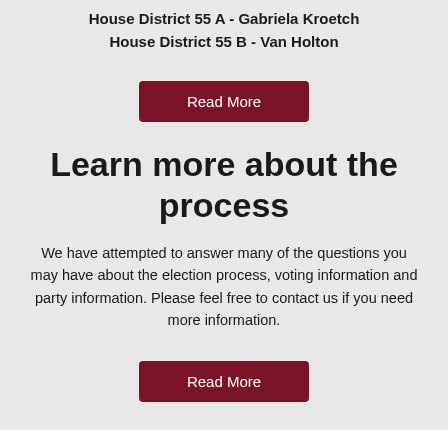House District 55 A - Gabriela Kroetch
House District 55 B - Van Holton
Read More
Learn more about the process
We have attempted to answer many of the questions you may have about the election process, voting information and party information. Please feel free to contact us if you need more information.
Read More
Get Involved